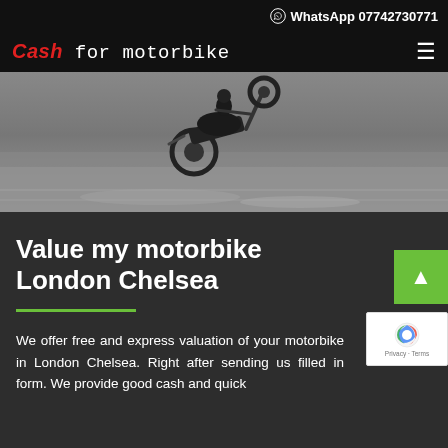WhatsApp 07742730771
Cash for motorbike
[Figure (photo): Motorbike performing a wheelie on a road, blurred motion background, grey tones]
Value my motorbike London Chelsea
We offer free and express valuation of your motorbike in London Chelsea. Right after sending us filled in form. We provide good cash and quick